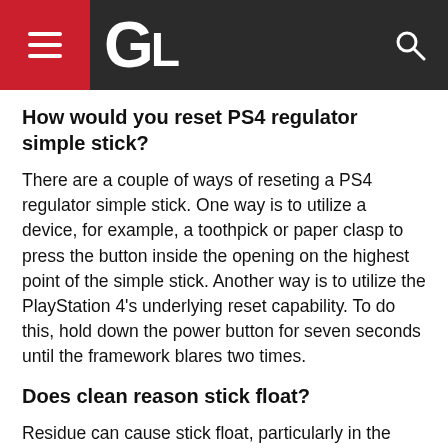GL [logo]
How would you reset PS4 regulator simple stick?
There are a couple of ways of reseting a PS4 regulator simple stick. One way is to utilize a device, for example, a toothpick or paper clasp to press the button inside the opening on the highest point of the simple stick. Another way is to utilize the PlayStation 4’s underlying reset capability. To do this, hold down the power button for seven seconds until the framework blares two times.
Does clean reason stick float?
Residue can cause stick float, particularly in the event that it is a light residue. This is on the grounds that the residue can get into the moving pieces of the plane and influence them to stick.